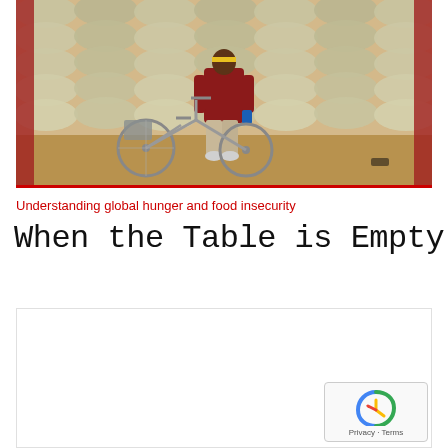[Figure (photo): A person wearing a dark red shirt and light trousers stands with their back to the camera facing a large stack of white grain/food sacks inside what appears to be a warehouse or storage facility. A bicycle is parked to the left of the person. The scene is shot in warm, natural lighting.]
Understanding global hunger and food insecurity
When the Table is Empty